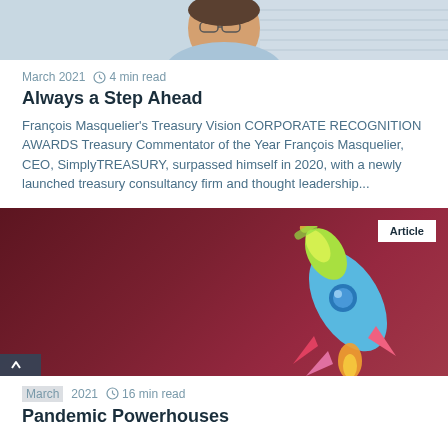[Figure (photo): Top portion of a photo showing a person (man with glasses, smiling) in an office setting]
March 2021  4 min read
Always a Step Ahead
François Masquelier's Treasury Vision CORPORATE RECOGNITION AWARDS Treasury Commentator of the Year François Masquelier, CEO, SimplyTREASURY, surpassed himself in 2020, with a newly launched treasury consultancy firm and thought leadership...
[Figure (illustration): Dark maroon/red background with a colorful rocket illustration on the right side. An 'Article' badge in the top right corner. A 'back to top' arrow button at bottom left.]
March 2021  16 min read
Pandemic Powerhouses